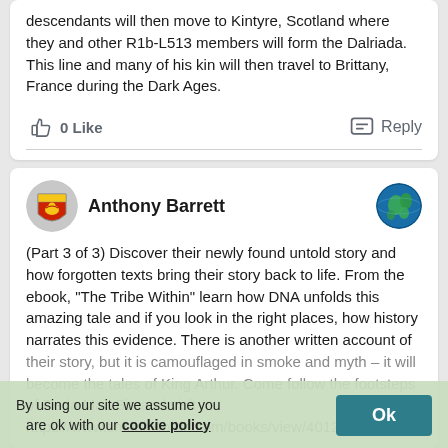descendants will then move to Kintyre, Scotland where they and other R1b-L513 members will form the Dalriada. This line and many of his kin will then travel to Brittany, France during the Dark Ages.
0 Like   Reply
Anthony Barrett
(Part 3 of 3) Discover their newly found untold story and how forgotten texts bring their story back to life. From the ebook, “The Tribe Within” learn how DNA unfolds this amazing tale and if you look in the right places, how history narrates this evidence. There is another written account of their story, but it is camouflaged in smoke and myth – it will become the tales of King Arthur. Come follow the footsteps of Deda Mac Sin and visit https://www.smashwords.com/books/view/401207
By using our site we assume you are ok with our cookie policy  Ok